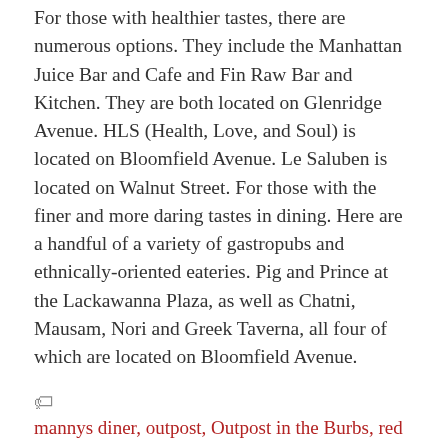For those with healthier tastes, there are numerous options. They include the Manhattan Juice Bar and Cafe and Fin Raw Bar and Kitchen. They are both located on Glenridge Avenue. HLS (Health, Love, and Soul) is located on Bloomfield Avenue. Le Saluben is located on Walnut Street. For those with the finer and more daring tastes in dining. Here are a handful of a variety of gastropubs and ethnically-oriented eateries. Pig and Prince at the Lackawanna Plaza, as well as Chatni, Mausam, Nori and Greek Taverna, all four of which are located on Bloomfield Avenue.
mannys diner, outpost, Outpost in the Burbs, red eye cafe, Trend Coffee and Tea House, willie nile
Willie Nile Takes an ‘American Ride’ added by Editorial Staff on January 2, 2014
View all posts by Editorial Staff →
You must be logged in to post a comment Login